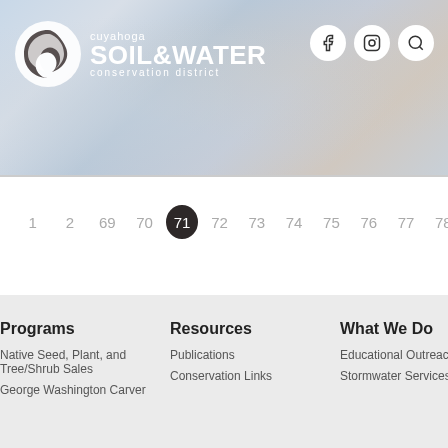[Figure (logo): Cuyahoga Soil & Water Conservation District logo with circular swirl emblem, white text on cloudy blue-gray background. Social media icons (Facebook, Instagram, Search) in white circles top right.]
1
2
69
70
71 (active)
72
73
74
75
76
77
78
Programs
Resources
What We Do
Native Seed, Plant, and Tree/Shrub Sales
Publications
Conservation Links
Educational Outreach
Stormwater Services
George Washington Carver